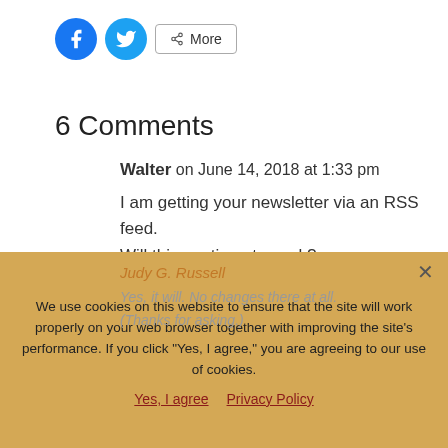[Figure (other): Social share buttons: Facebook (blue circle), Twitter (blue circle), and a More button with share icon]
6 Comments
Walter on June 14, 2018 at 1:33 pm
I am getting your newsletter via an RSS feed. Will this continue to work?
Reply
Judy G. Russell on June 14, 2018 at 3:13 pm
Yes, it will. No changes there at all. (Thanks for asking.)
We use cookies on this website to ensure that the site will work properly on your web browser together with improving the site's performance. If you click "Yes, I agree," you are agreeing to our use of cookies.
Yes, I agree   Privacy Policy